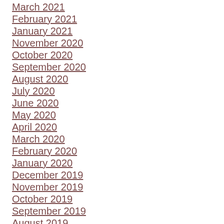March 2021
February 2021
January 2021
November 2020
October 2020
September 2020
August 2020
July 2020
June 2020
May 2020
April 2020
March 2020
February 2020
January 2020
December 2019
November 2019
October 2019
September 2019
August 2019